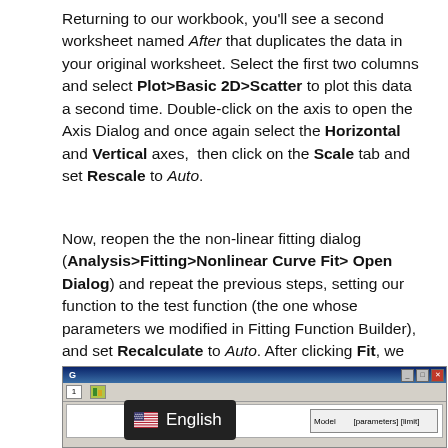Returning to our workbook, you'll see a second worksheet named After that duplicates the data in your original worksheet. Select the first two columns and select Plot>Basic 2D>Scatter to plot this data a second time. Double-click on the axis to open the Axis Dialog and once again select the Horizontal and Vertical axes,  then click on the Scale tab and set Rescale to Auto.
Now, reopen the the non-linear fitting dialog (Analysis>Fitting>Nonlinear Curve Fit> Open Dialog) and repeat the previous steps, setting our function to the test function (the one whose parameters we modified in Fitting Function Builder), and set Recalculate to Auto. After clicking Fit, we should see the same graph that we had started with.
[Figure (screenshot): A screenshot of a software dialog window (likely Origin) showing a toolbar row with numbered buttons and an icon, a white content area, and a 'Model' label box on the right. An 'English' language overlay with a US flag icon appears at the bottom left.]